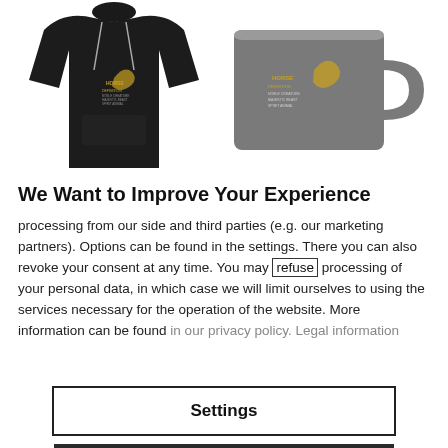[Figure (photo): Two product images side by side: a black hoodie on the left with a horse graphic design, and a gray mug on the right with a horse graphic design.]
We Want to Improve Your Experience
processing from our side and third parties (e.g. our marketing partners). Options can be found in the settings. There you can also revoke your consent at any time. You may refuse processing of your personal data, in which case we will limit ourselves to using the services necessary for the operation of the website. More information can be found in our privacy policy. Legal information
Settings
Agree